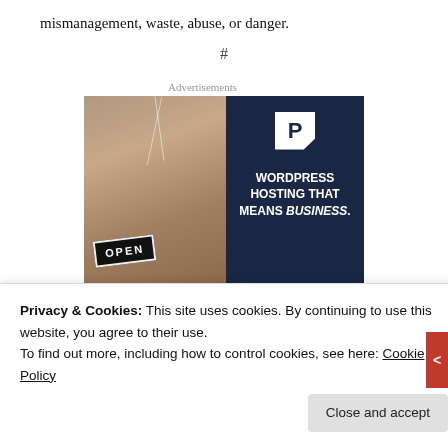mismanagement, waste, abuse, or danger.
#
Advertisements
[Figure (photo): Advertisement banner for WordPress Hosting. Left half shows a photo of a woman smiling and holding an OPEN sign at a shop entrance. Right half is dark navy blue with a white P logo and text: WORDPRESS HOSTING THAT MEANS BUSINESS.]
Privacy & Cookies: This site uses cookies. By continuing to use this website, you agree to their use.
To find out more, including how to control cookies, see here: Cookie Policy